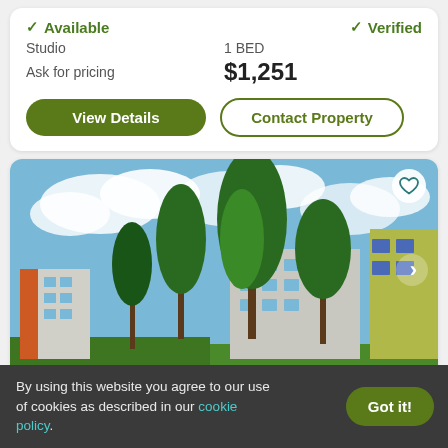✓ Available   ✓ Verified
Studio   1 BED
Ask for pricing   $1,251
View Details | Contact Property
[Figure (photo): Exterior photo of an apartment complex with tall evergreen trees, gray and white building with balconies, blue sky and clouds]
By using this website you agree to our use of cookies as described in our cookie policy.
Got it!